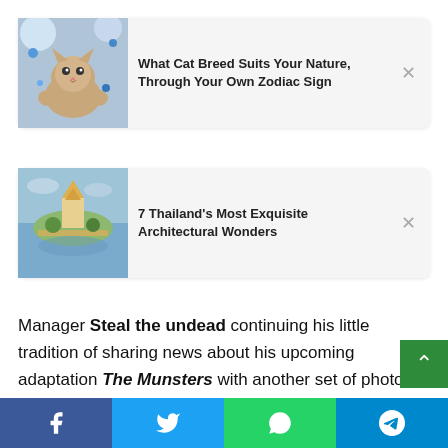[Figure (photo): Ad card 1: Cat photo with text 'What Cat Breed Suits Your Nature, Through Your Own Zodiac Sign']
[Figure (photo): Ad card 2: Thailand architectural wonder photo with text '7 Thailand's Most Exquisite Architectural Wonders']
Manager Steal the undead continuing his little tradition of sharing news about his upcoming adaptation The Munsters with another set of photos posted on Instagram. Over the past few months, the horror enthusiast has been updating fans regularly and revealing set shots, tidbits about the production, and more. All the information confirms what we've come to expect: the movie will keep the style of the original series and continue to follow the process of the monster family. Today, Zombie shared photos to announce the British actor Sylvester
[Figure (infographic): Social share bar with Facebook, Twitter, WhatsApp, and Telegram buttons]